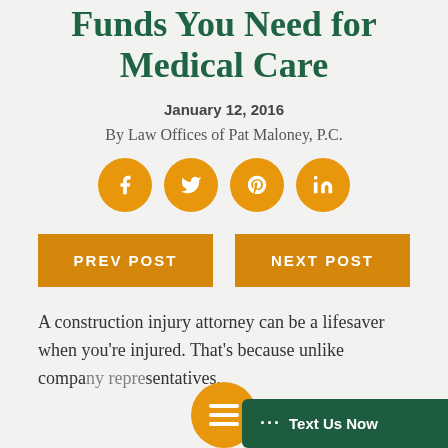Attorney Helps You Get the Funds You Need for Medical Care
January 12, 2016
By Law Offices of Pat Maloney, P.C.
[Figure (infographic): Four orange circular social media share icons: Facebook, Twitter, Pinterest, LinkedIn]
[Figure (infographic): Two navigation buttons: 'Prev Post' (left, orange) and 'Next Post' (right, orange)]
A construction injury attorney can be a lifesaver when you're injured. That's because unlike company representatives,
[Figure (infographic): Orange circular menu hamburger icon (bottom center)]
[Figure (infographic): Dark green chat bubble button with '... Text Us Now' (bottom right)]